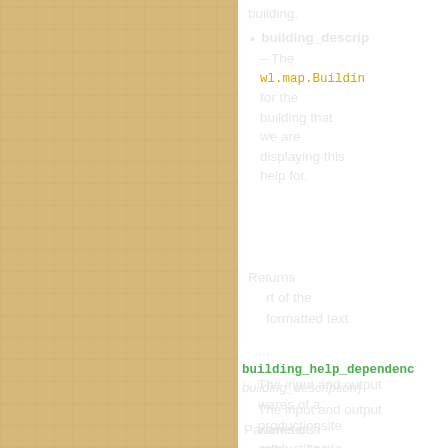building.
building_descrip – The wl.map.Buildin for the building that we are displaying this help for.
Returns
  rt of the
  formatted text
building_help_dependenc(building_description)
  The input and output wares of a productionsite
Parameters
tribe – The